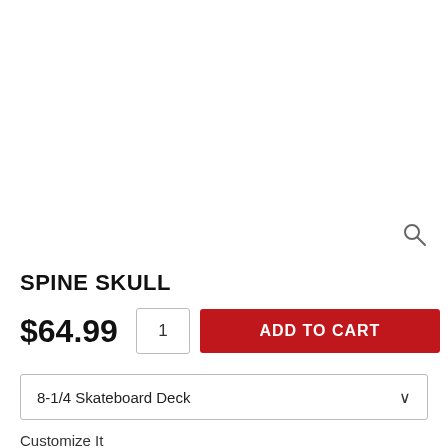[Figure (other): Product image area (white/blank product photo area with a magnifying glass search icon in bottom right)]
SPINE SKULL
$64.99
1
ADD TO CART
8-1/4 Skateboard Deck
Customize It